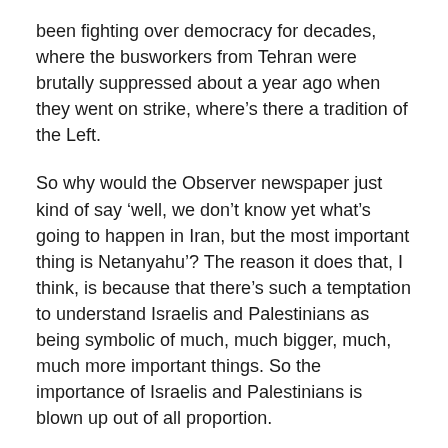been fighting over democracy for decades, where the busworkers from Tehran were brutally suppressed about a year ago when they went on strike, where's there a tradition of the Left.
So why would the Observer newspaper just kind of say 'well, we don't know yet what's going to happen in Iran, but the most important thing is Netanyahu'? The reason it does that, I think, is because that there's such a temptation to understand Israelis and Palestinians as being symbolic of much, much bigger, much, much more important things. So the importance of Israelis and Palestinians is blown up out of all proportion.
What comes with that then is an idea that Palestinians become the symbolic oppressed of the whole world, and Israelis and the Jews who argue [on the side of Israel]